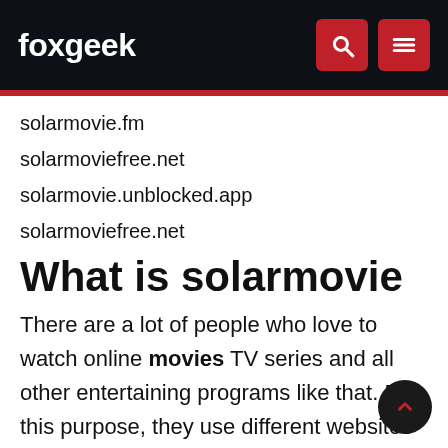foxgeek
solarmovie.fm
solarmoviefree.net
solarmovie.unblocked.app
solarmoviefree.net
What is solarmovie
There are a lot of people who love to watch online movies TV series and all other entertaining programs like that. For this purpose, they use different websites for watching movies like solarmovie. But sometimes when they are watching their favorite stuff some annoying ads will come which makes them frustrated so they need